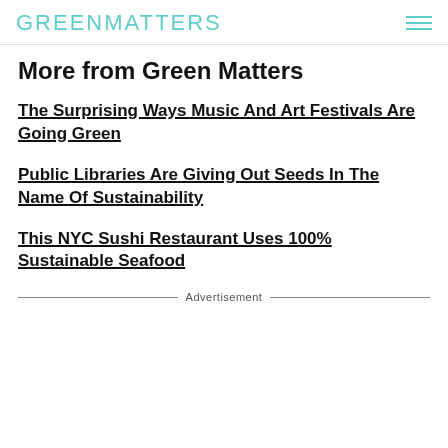GREENMATTERS
More from Green Matters
The Surprising Ways Music And Art Festivals Are Going Green
Public Libraries Are Giving Out Seeds In The Name Of Sustainability
This NYC Sushi Restaurant Uses 100% Sustainable Seafood
Advertisement